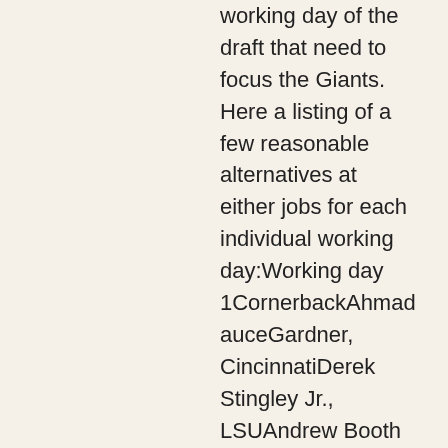working day of the draft that need to focus the Giants. Here a listing of a few reasonable alternatives at either jobs for each individual working day:Working day 1CornerbackAhmad auceGardner, CincinnatiDerek Stingley Jr., LSUAndrew Booth Jr., ClemsonEdgeKayvon Thibodeaux, OregonTravon Walker, GeorgiaJermaine Johnson, Florida StateDay 2CornerbackKaiir Elam, FloridaKyler Gordon, WashingtonTariq Woolen, UTSAEdgeBoye Mafe, MinnesotaDrake Jackson https://www.nygteamstore.com/Nate_Soldier_Jersey, USCArnold Ebiketie, Penn StateDay 3CornerbackMartin Emerson, Mississippi StateCam Taylor-Britt, NebraskaDerion Kendrick, GeorgiaEdgeAlex Wright, UABDeangelo Malone, Western KentuckyAmare Barno, Virginia TechThere are lots of other avid gamers that could possibly be shown at